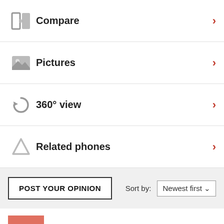Compare
Pictures
360° view
Related phones
POST YOUR OPINION | Sort by: Newest first
Biyero  N9@  25 Nov 2009
When i try to download to my phone..it alway say there is no space in it..and there is..and also i can't open waptrick